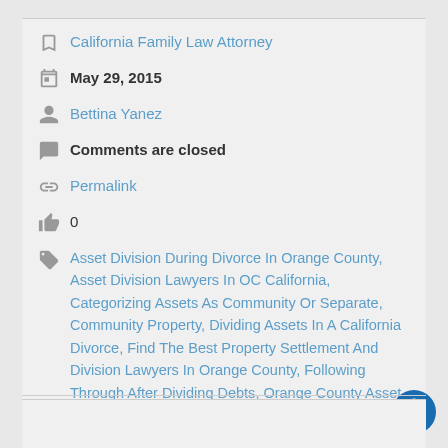California Family Law Attorney
May 29, 2015
Bettina Yanez
Comments are closed
Permalink
0
Asset Division During Divorce In Orange County, Asset Division Lawyers In OC California, Categorizing Assets As Community Or Separate, Community Property, Dividing Assets In A California Divorce, Find The Best Property Settlement And Division Lawyers In Orange County, Following Through After Dividing Debts, Orange County Asset Division Attorneys, Orange County Hidden Assets Lawyer, Property Division, QDRO, Qualified Domestic Relations Orders, Splitting Assets In Orange County California Divorce, The Declaration Of Disclosure, What Is A Qualified Domestic Relations Orders